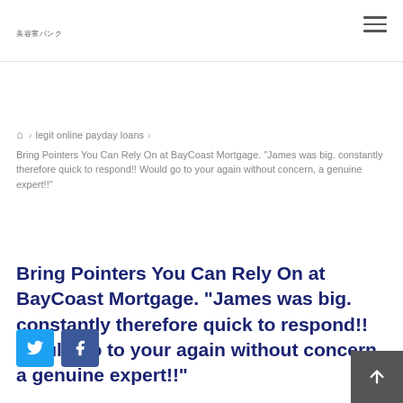美容室バンク
⌂ › legit online payday loans › Bring Pointers You Can Rely On at BayCoast Mortgage. “James was big. constantly therefore quick to respond!! Would go to your again without concern, a genuine expert!!”
Bring Pointers You Can Rely On at BayCoast Mortgage. “James was big. constantly therefore quick to respond!! Would go to your again without concern, a genuine expert!!”
[Figure (other): Twitter and Facebook social share buttons]